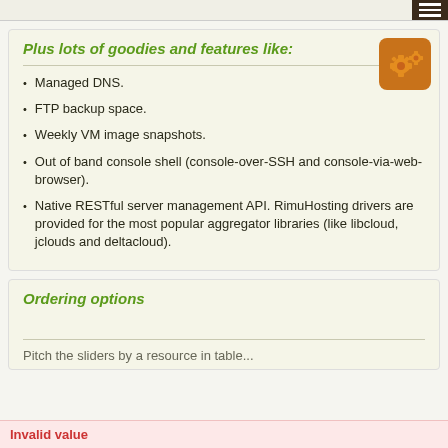Plus lots of goodies and features like:
[Figure (illustration): Orange gear/cog icon on a rounded square background]
Managed DNS.
FTP backup space.
Weekly VM image snapshots.
Out of band console shell (console-over-SSH and console-via-web-browser).
Native RESTful server management API. RimuHosting drivers are provided for the most popular aggregator libraries (like libcloud, jclouds and deltacloud).
Ordering options
Pitch the sliders by a resource in table...
Invalid value